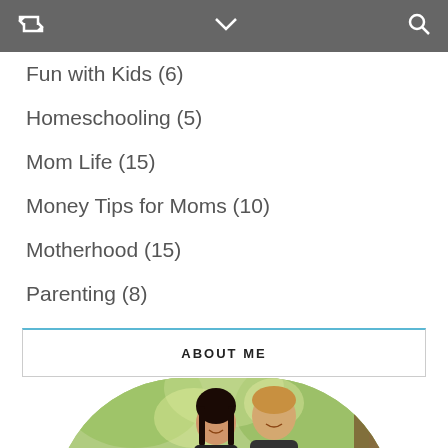navigation bar with retweet icon, chevron down, and search icon
Fun with Kids (6)
Homeschooling (5)
Mom Life (15)
Money Tips for Moms (10)
Motherhood (15)
Parenting (8)
Uncategorized (0)
ABOUT ME
[Figure (photo): Circular cropped family photo showing a couple and a young child outdoors among trees]